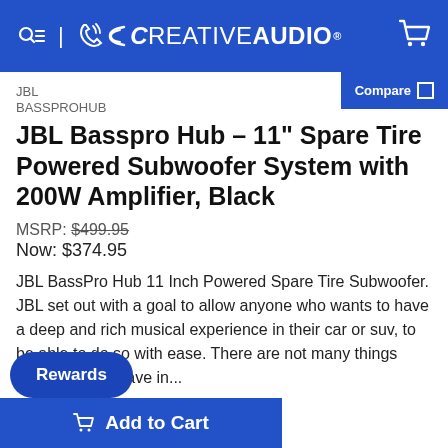CREATIVE AUDIO
JBL
BASSPROHUB
JBL Basspro Hub – 11" Spare Tire Powered Subwoofer System with 200W Amplifier, Black
MSRP: $499.95
Now: $374.95
JBL BassPro Hub 11 Inch Powered Spare Tire Subwoofer. JBL set out with a goal to allow anyone who wants to have a deep and rich musical experience in their car or suv, to be able to do so with ease. There are not many things most vehicles have in...
Rewards
Add to Cart